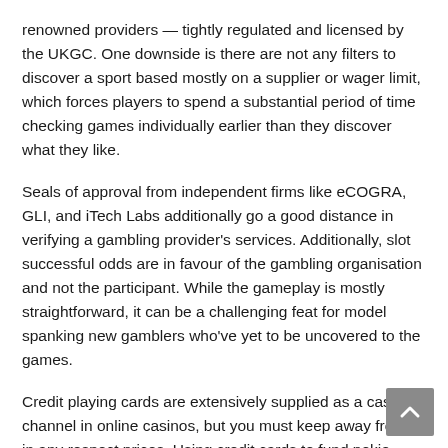renowned providers — tightly regulated and licensed by the UKGC. One downside is there are not any filters to discover a sport based mostly on a supplier or wager limit, which forces players to spend a substantial period of time checking games individually earlier than they discover what they like.
Seals of approval from independent firms like eCOGRA, GLI, and iTech Labs additionally go a good distance in verifying a gambling provider's services. Additionally, slot successful odds are in favour of the gambling organisation and not the participant. While the gameplay is mostly straightforward, it can be a challenging feat for model spanking new gamblers who've yet to be uncovered to the games.
Credit playing cards are extensively supplied as a cashier channel in online casinos, but you must keep away from the in any respect prices. Using credit cards to fund pokie gameplay means spending money you do not have and